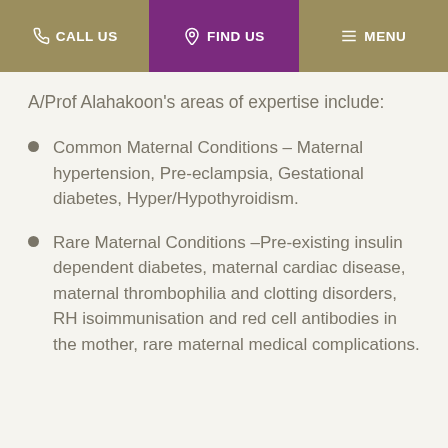CALL US | FIND US | MENU
A/Prof Alahakoon's areas of expertise include:
Common Maternal Conditions – Maternal hypertension, Pre-eclampsia, Gestational diabetes, Hyper/Hypothyroidism.
Rare Maternal Conditions –Pre-existing insulin dependent diabetes, maternal cardiac disease, maternal thrombophilia and clotting disorders, RH isoimmunisation and red cell antibodies in the mother, rare maternal medical complications.